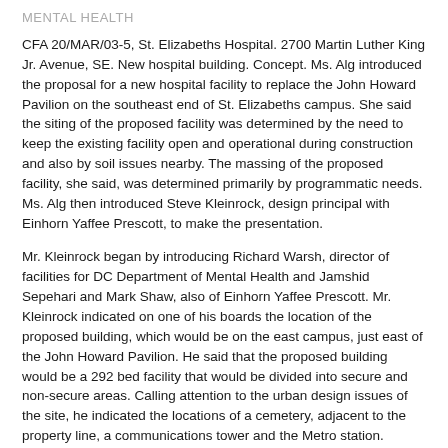MENTAL HEALTH
CFA 20/MAR/03-5, St. Elizabeths Hospital. 2700 Martin Luther King Jr. Avenue, SE. New hospital building. Concept. Ms. Alg introduced the proposal for a new hospital facility to replace the John Howard Pavilion on the southeast end of St. Elizabeths campus. She said the siting of the proposed facility was determined by the need to keep the existing facility open and operational during construction and also by soil issues nearby. The massing of the proposed facility, she said, was determined primarily by programmatic needs. Ms. Alg then introduced Steve Kleinrock, design principal with Einhorn Yaffee Prescott, to make the presentation.
Mr. Kleinrock began by introducing Richard Warsh, director of facilities for DC Department of Mental Health and Jamshid Sepehari and Mark Shaw, also of Einhorn Yaffee Prescott. Mr. Kleinrock indicated on one of his boards the location of the proposed building, which would be on the east campus, just east of the John Howard Pavilion. He said that the proposed building would be a 292 bed facility that would be divided into secure and non-secure areas. Calling attention to the urban design issues of the site, he indicated the locations of a cemetery, adjacent to the property line, a communications tower and the Metro station.